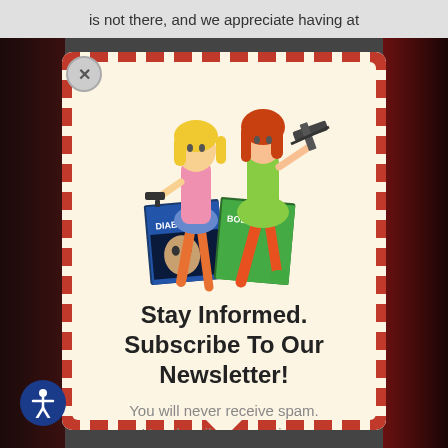is not there, and we appreciate having at
[Figure (illustration): Two illustrated women holding weapons (pistol and submachine gun) standing over comic book covers labeled 'Diabolik' and 'Bolique']
Stay Informed. Subscribe To Our Newsletter!
You will never receive spam. Unsubscribe at any time.